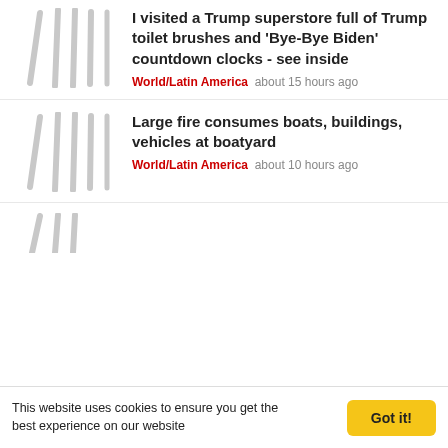[Figure (screenshot): Blurred/redacted thumbnail image placeholder with vertical grey lines for first article]
I visited a Trump superstore full of Trump toilet brushes and 'Bye-Bye Biden' countdown clocks - see inside
World/Latin America   about 15 hours ago
[Figure (screenshot): Blurred/redacted thumbnail image placeholder with vertical grey lines for second article]
Large fire consumes boats, buildings, vehicles at boatyard
World/Latin America   about 10 hours ago
[Figure (screenshot): Partial blurred thumbnail for third article (cut off)]
This website uses cookies to ensure you get the best experience on our website
Got it!